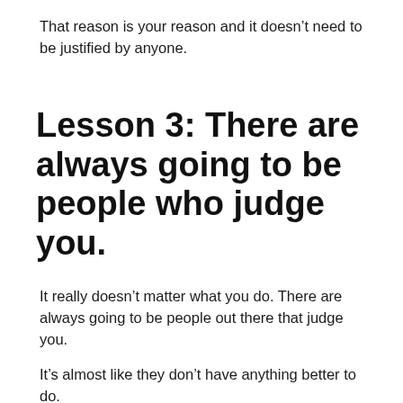That reason is your reason and it doesn't need to be justified by anyone.
Lesson 3: There are always going to be people who judge you.
It really doesn't matter what you do. There are always going to be people out there that judge you.
It's almost like they don't have anything better to do.